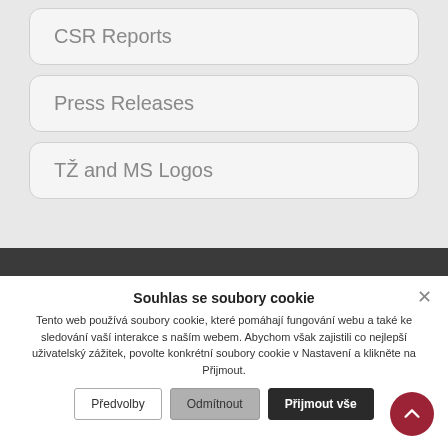CSR Reports
Press Releases
TŽ and MS Logos
Souhlas se soubory cookie
Tento web používá soubory cookie, které pomáhají fungování webu a také ke sledování vaší interakce s naším webem. Abychom však zajistili co nejlepší uživatelský zážitek, povolte konkrétní soubory cookie v Nastavení a klikněte na Přijmout.
Předvolby | Odmítnout | Přijmout vše